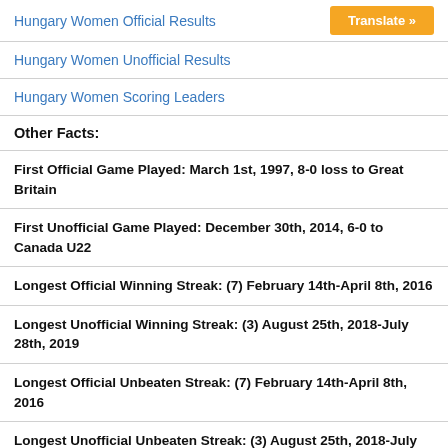Hungary Women Official Results
Hungary Women Unofficial Results
Hungary Women Scoring Leaders
Other Facts:
First Official Game Played: March 1st, 1997, 8-0 loss to Great Britain
First Unofficial Game Played: December 30th, 2014, 6-0 to Canada U22
Longest Official Winning Streak: (7) February 14th-April 8th, 2016
Longest Unofficial Winning Streak: (3) August 25th, 2018-July 28th, 2019
Longest Official Unbeaten Streak: (7) February 14th-April 8th, 2016
Longest Unofficial Unbeaten Streak: (3) August 25th, 2018-July 28th, 2019
Longest Official Losing Streak: (9) January 18th, September…